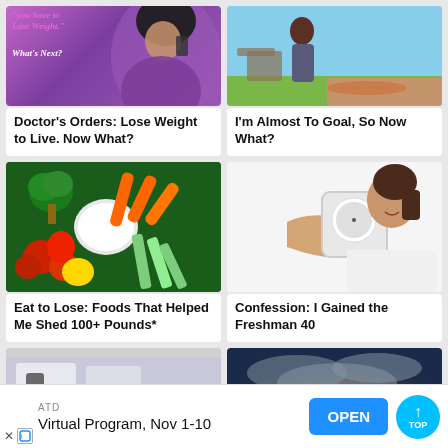[Figure (photo): Woman in purple top talking on phone, with text overlay in pink/white italic font reading 'you have to Lose Weight.' and 'What's Next?']
Doctor's Orders: Lose Weight to Live. Now What?
[Figure (photo): Outdoor scene with person doing yoga or exercise on mat in backyard]
I'm Almost To Goal, So Now What?
[Figure (photo): A colorful arrangement of vegetables including broccoli, carrots, celery, tomatoes, and bell peppers around a white dip bowl]
Eat to Lose: Foods That Helped Me Shed 100+ Pounds*
[Figure (photo): Woman in white tank top holding and looking at a bathroom scale with an expression of frustration]
Confession: I Gained the Freshman 40
[Figure (photo): Partial bottom-left image showing hands, possibly a person sitting]
[Figure (photo): Sky scene with silhouette of person with arms raised, dramatic clouds and sunlight]
ATD
Virtual Program, Nov 1-10